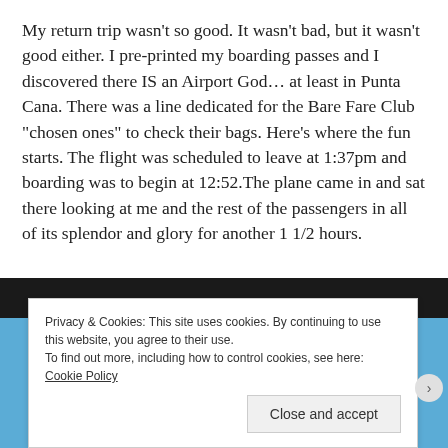My return trip wasn’t so good. It wasn’t bad, but it wasn’t good either. I pre-printed my boarding passes and I discovered there IS an Airport God… at least in Punta Cana. There was a line dedicated for the Bare Fare Club “chosen ones” to check their bags. Here’s where the fun starts. The flight was scheduled to leave at 1:37pm and boarding was to begin at 12:52.The plane came in and sat there looking at me and the rest of the passengers in all of its splendor and glory for another 1 1/2 hours.
[Figure (photo): Partial photo of palm trees and blue sky, partially obscured by a cookie consent banner]
Privacy & Cookies: This site uses cookies. By continuing to use this website, you agree to their use.
To find out more, including how to control cookies, see here: Cookie Policy
Close and accept